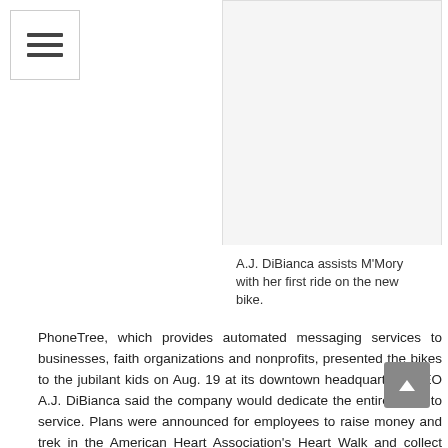[Figure (other): Navigation hamburger menu button icon]
[Figure (photo): A.J. DiBianca assists M'Mory with her first ride on the new bike.]
A.J. DiBianca assists M'Mory with her first ride on the new bike.
PhoneTree, which provides automated messaging services to businesses, faith organizations and nonprofits, presented the bikes to the jubilant kids on Aug. 19 at its downtown headquarters. CEO A.J. DiBianca said the company would dedicate the entire week to service. Plans were announced for employees to raise money and trek in the American Heart Association's Heart Walk and collect supplies for the Forsyth Humane Society and Winston-Salem/Forsyth County Schools.
PhoneTree was birthed in a living room. Today, it has 50 employees and an office perched high up in the Winston Tower. DiBianca said his employees have much to do with the company's